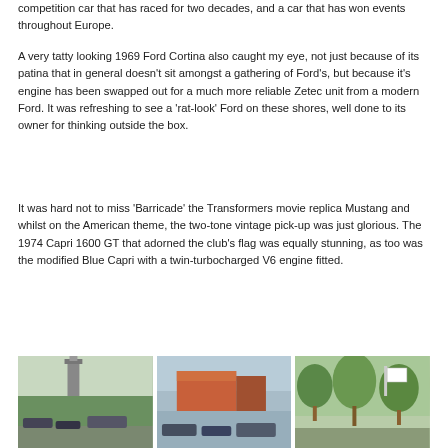competition car that has raced for two decades, and a car that has won events throughout Europe.
A very tatty looking 1969 Ford Cortina also caught my eye, not just because of its patina that in general doesn't sit amongst a gathering of Ford's, but because it's engine has been swapped out for a much more reliable Zetec unit from a modern Ford. It was refreshing to see a 'rat-look' Ford on these shores, well done to its owner for thinking outside the box.
It was hard not to miss 'Barricade' the Transformers movie replica Mustang and whilst on the American theme, the two-tone vintage pick-up was just glorious. The 1974 Capri 1600 GT that adorned the club's flag was equally stunning, as too was the modified Blue Capri with a twin-turbocharged V6 engine fitted.
[Figure (photo): Three outdoor event photos showing classic cars and vehicles at a Ford car show, with a clock tower in the first image, colourful buildings in the second, and trees with a banner in the third.]